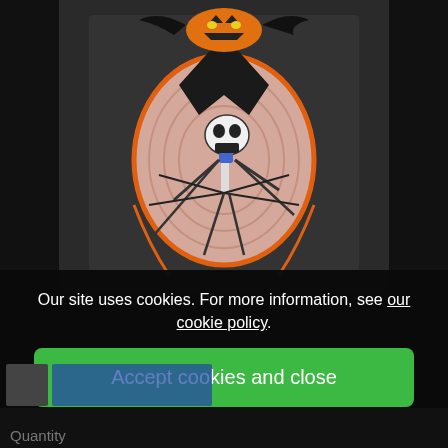[Figure (photo): Halloween-themed embroidered patch showing a skeletal Jack Skellington-like figure with long spindly arms/legs on a pink/cream oval background, topped with an orange jack-o-lantern pumpkin with bat wings, on a dark gray fabric background]
Our site uses cookies. For more information, see our cookie policy.
Accept cookies and close
Reject cookies
Manage settings
Quantity